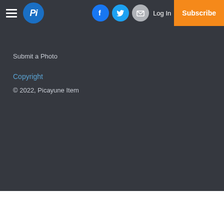Pi — Picayune Item navigation bar with hamburger menu, logo, Facebook, Twitter, Email social icons, Log In link, and Subscribe button
Submit a Photo
Copyright
© 2022, Picayune Item